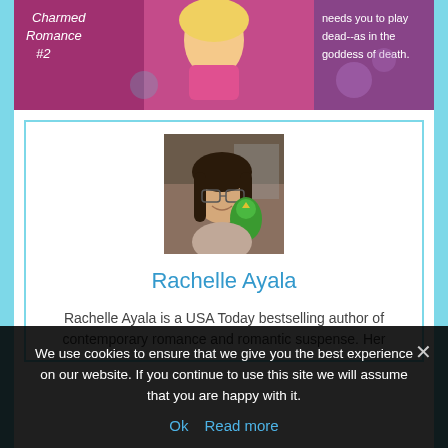[Figure (illustration): Book cover image for 'Charmed Romance #2' showing an illustrated blonde woman in pink, with text 'needs you to play dead--as in the goddess of death']
[Figure (photo): Author photo of Rachelle Ayala: a woman with glasses and dark hair, smiling, with a green parrot on her shoulder]
Rachelle Ayala
Rachelle Ayala is a USA Today bestselling author of contemporary romance and romantic suspense. Her
We use cookies to ensure that we give you the best experience on our website. If you continue to use this site we will assume that you are happy with it.
Ok   Read more